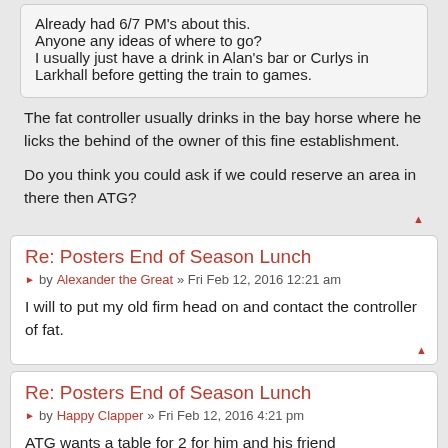Already had 6/7 PM's about this.
Anyone any ideas of where to go?
I usually just have a drink in Alan's bar or Curlys in Larkhall before getting the train to games.
The fat controller usually drinks in the bay horse where he licks the behind of the owner of this fine establishment.
Do you think you could ask if we could reserve an area in there then ATG?
Re: Posters End of Season Lunch
by Alexander the Great » Fri Feb 12, 2016 12:21 am
I will to put my old firm head on and contact the controller of fat.
Re: Posters End of Season Lunch
by Happy Clapper » Fri Feb 12, 2016 4:21 pm
ATG wants a table for 2 for him and his friend redandwhite1874 in the doom & gloom corner